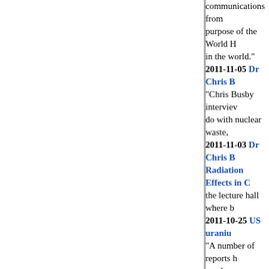communications from purpose of the World H in the world."
2011-11-05 Dr Chris B
"Chris Busby intervie do with nuclear waste,
2011-11-03 Dr Chris B Radiation Effects in C the lecture hall where b
2011-10-25 US uraniu
"A number of reports h much more widespread biomedical studies pro reports. Busby sat dow
2011-10-15 Prof. Chr radioactivity effects ( you can; but if not not DNA. It is basic Physi (Calcium which stabili binding of radionuclid affinity elements and c same thermodynamic d selling pills based on h says, to buy Calcium/ expensive. The adult d